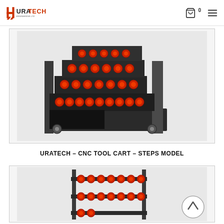URATECH logo, cart icon (0), hamburger menu
[Figure (photo): URATECH CNC Tool Cart Steps Model - a dark grey metal tool cart on wheels with three step-style tiers, each tier holding red foam tool holders in circular openings for CNC tool bits. Bottom has an open storage compartment.]
URATECH – CNC TOOL CART – STEPS MODEL
[Figure (photo): Second product photo of a CNC tool cart showing a different angle, appears to be a rack-style holder with red circular foam inserts on metal shelves, partially visible.]